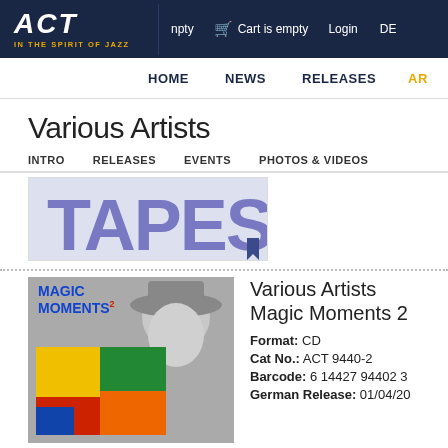ACT - IN THE SPIRIT OF JAZZ | npty | Cart is empty | Login | DE
HOME | NEWS | RELEASES | AR
Various Artists
INTRO | RELEASES | EVENTS | PHOTOS & VIDEOS
[Figure (photo): Partial image showing 'TAPES' text in large purple letters on a light background]
[Figure (photo): Album cover for Magic Moments 2 — colorful abstract painting with yellow, red, blue, green shapes plus a person in a hat in greyscale]
Various Artists Magic Moments 2
Format: CD
Cat No.: ACT 9440-2
Barcode: 6 14427 94402 3
German Release: 01/04/20